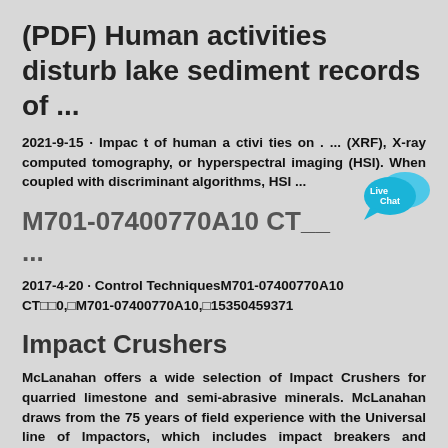(PDF) Human activities disturb lake sediment records of ...
2021-9-15 · Impac t of human a ctivi ties on . ... (XRF), X-ray computed tomography, or hyperspectral imaging (HSI). When coupled with discriminant algorithms, HSI ...
[Figure (other): Live Chat button/badge icon in blue]
M701-07400770A10 CT__ ...
2017-4-20 · Control TechniquesM701-07400770A10 CT□□0,□M701-07400770A10,□15350459371
Impact Crushers
McLanahan offers a wide selection of Impact Crushers for quarried limestone and semi-abrasive minerals. McLanahan draws from the 75 years of field experience with the Universal line of Impactors, which includes impact breakers and Andreas-style ...